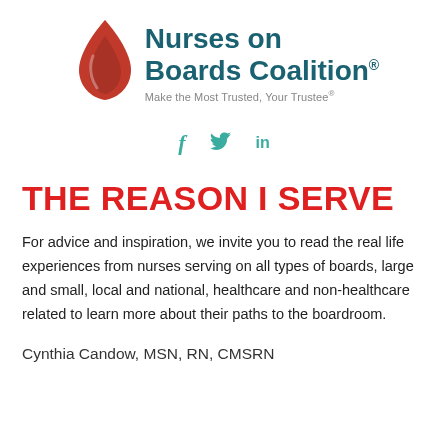[Figure (logo): Nurses on Boards Coalition logo with red flame/drop shape and teal text reading 'Nurses on Boards Coalition®' and tagline 'Make the Most Trusted, Your Trustee®']
[Figure (infographic): Social media icons: f (Facebook), bird (Twitter), in (LinkedIn) in teal color]
THE REASON I SERVE
For advice and inspiration, we invite you to read the real life experiences from nurses serving on all types of boards, large and small, local and national, healthcare and non-healthcare related to learn more about their paths to the boardroom.
Cynthia Candow, MSN, RN, CMSRN